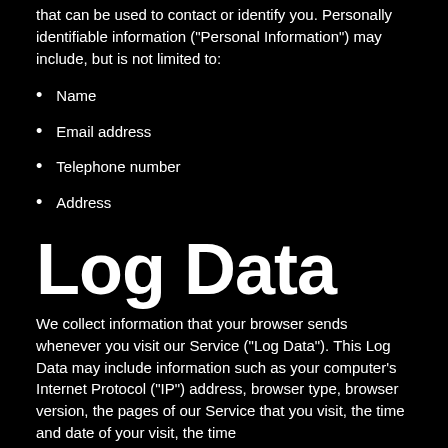that can be used to contact or identify you. Personally identifiable information ("Personal Information") may include, but is not limited to:
Name
Email address
Telephone number
Address
Log Data
We collect information that your browser sends whenever you visit our Service ("Log Data"). This Log Data may include information such as your computer's Internet Protocol ("IP") address, browser type, browser version, the pages of our Service that you visit, the time and date of your visit, the time